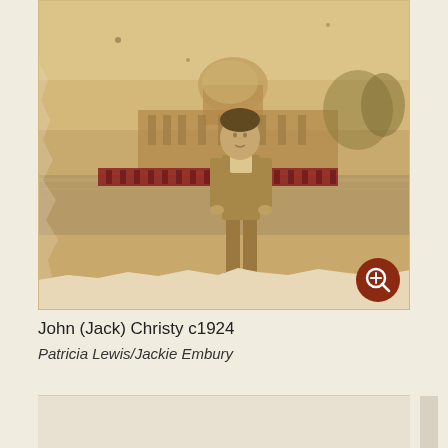[Figure (photo): Sepia-toned vintage photograph circa 1924 showing a young man (John 'Jack' Christy) standing outdoors in front of a building with a dome, near a reflecting pool or water feature. The photo has aged, torn edges and warm sepia coloring.]
John (Jack) Christy c1924
Patricia Lewis/Jackie Embury